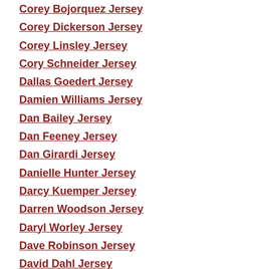Corey Bojorquez Jersey
Corey Dickerson Jersey
Corey Linsley Jersey
Cory Schneider Jersey
Dallas Goedert Jersey
Damien Williams Jersey
Dan Bailey Jersey
Dan Feeney Jersey
Dan Girardi Jersey
Danielle Hunter Jersey
Darcy Kuemper Jersey
Darren Woodson Jersey
Daryl Worley Jersey
Dave Robinson Jersey
David Dahl Jersey
DeMar DeRozan Jersey
Denis Malgin Jersey
Denis Potvin Jersey
Dennis Byrd Jersey
Dennis Kelly Jersey
Denzel Perryman Jersey